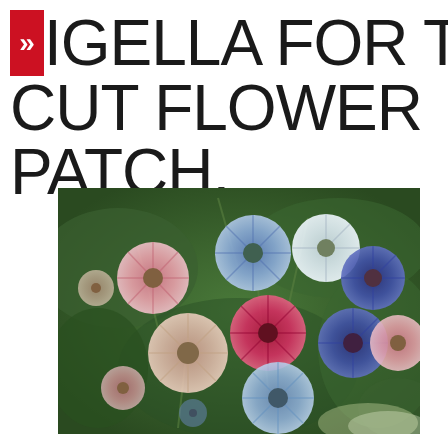NIGELLA FOR THE CUT FLOWER PATCH.
[Figure (photo): A close-up photograph of colorful Nigella (love-in-a-mist) flowers in bloom, showing pink, white, blue, purple and red varieties with feathery green foliage in the background.]